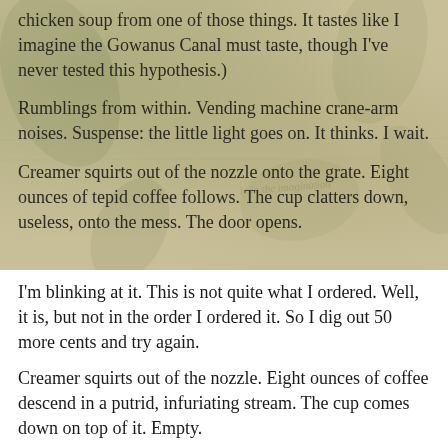chicken soup from one of those things. It tastes like I imagine the Gowanus Canal must taste, though I've never tested this hypothesis.)
Rumblings from within. Vending machine crane-arm noises. Suspense: the little light goes on. It thinks. I wait.
Creamer squirts out of the nozzle onto the grate. Eight ounces of tepid coffee follows. The cup clatters down, useless, onto the mess. The door opens.
I'm blinking at it. This is not quite what I ordered. Well, it is, but not in the order I ordered it. So I dig out 50 more cents and try again.
Creamer squirts out of the nozzle. Eight ounces of coffee descend in a putrid, infuriating stream. The cup comes down on top of it. Empty.
Fuck.
I'm on the verge of tears. Instead, I kick the vending